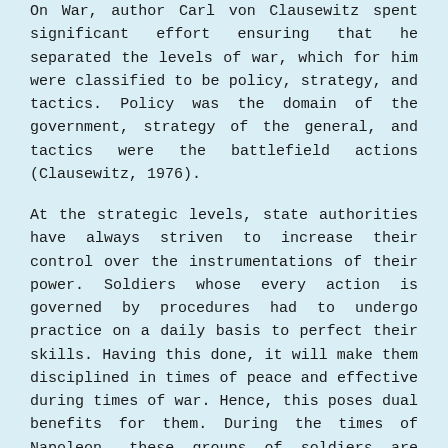On War, author Carl von Clausewitz spent significant effort ensuring that he separated the levels of war, which for him were classified to be policy, strategy, and tactics. Policy was the domain of the government, strategy of the general, and tactics were the battlefield actions (Clausewitz, 1976).
At the strategic levels, state authorities have always striven to increase their control over the instrumentations of their power. Soldiers whose every action is governed by procedures had to undergo practice on a daily basis to perfect their skills. Having this done, it will make them disciplined in times of peace and effective during times of war. Hence, this poses dual benefits for them. During the times of Napoleon, these groups of soldiers are often governed by generals.
Napoleon, having realized that it is difficult to handles such a large single group, he grouped the soldiers into corps, sustaining themselves separately. Afterwards, he developed a design aimed at gathering and processing information while adhering to an overall design. Furthermore, there is evidence that demonstrates the